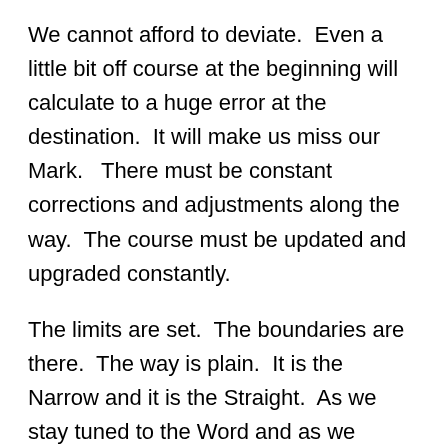We cannot afford to deviate. Even a little bit off course at the beginning will calculate to a huge error at the destination. It will make us miss our Mark. There must be constant corrections and adjustments along the way. The course must be updated and upgraded constantly.
The limits are set. The boundaries are there. The way is plain. It is the Narrow and it is the Straight. As we stay tuned to the Word and as we remain in the presence of God, we will stay on course. When we listen to men and go by our opinions and lean on our feelings, we will get off course. When we get lazy and lukewarm… when we become entangled with the World, we get off course. When we take our Eyes off the Prize we lose ground and veer off course. When we take on added and unnecessary baggage, and fool around with flesh we are